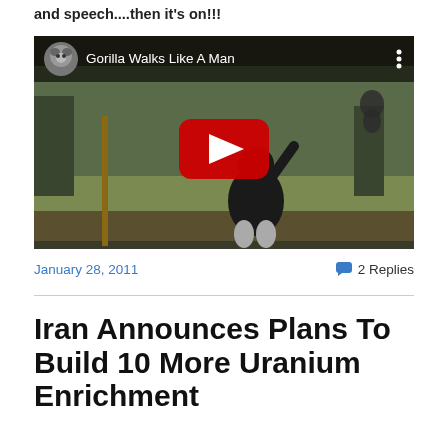and speech....then it's on!!!
[Figure (screenshot): YouTube video thumbnail showing a gorilla walking upright like a human in a zoo enclosure. The video title reads 'Gorilla Walks Like A Man'. A red YouTube play button is centered on the thumbnail. The top bar shows a channel icon (koala/bear face) and the video title on a dark background.]
January 28, 2011
2 Replies
Iran Announces Plans To Build 10 More Uranium Enrichment